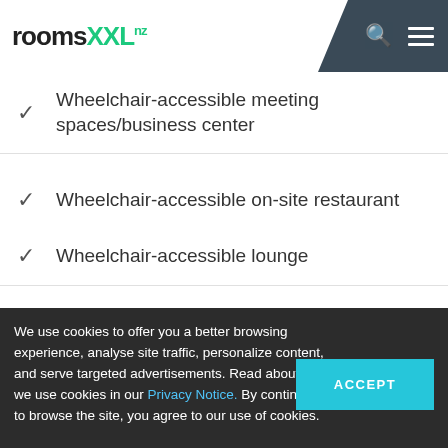roomsXXL.nz
Wheelchair-accessible meeting spaces/business center
Wheelchair-accessible on-site restaurant
Wheelchair-accessible lounge
We use cookies to offer you a better browsing experience, analyse site traffic, personalize content, and serve targeted advertisements. Read about how we use cookies in our Privacy Notice. By continuing to browse the site, you agree to our use of cookies.